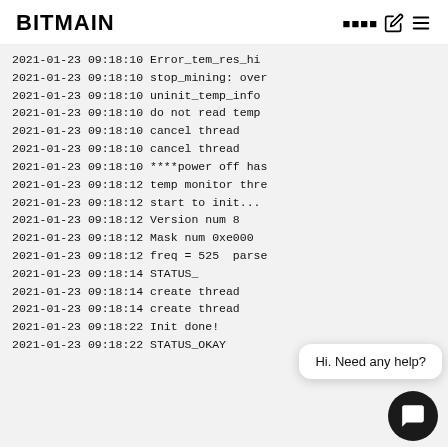BITMAIN
2021-01-23 09:18:10 Error_tem_res_h...
2021-01-23 09:18:10 stop_mining: over
2021-01-23 09:18:10 uninit_temp_info
2021-01-23 09:18:10 do not read temp
2021-01-23 09:18:10 cancel thread
2021-01-23 09:18:10 cancel thread
2021-01-23 09:18:10 ****power off has
2021-01-23 09:18:12 temp monitor thre
2021-01-23 09:18:12 start to init...
2021-01-23 09:18:12 Version num 8
2021-01-23 09:18:12 Mask num 0xe000
2021-01-23 09:18:12 freq = 525  perse
2021-01-23 09:18:14 STATUS_
2021-01-23 09:18:14 create thread
2021-01-23 09:18:14 create thread
2021-01-23 09:18:22 Init done!
2021-01-23 09:18:22 STATUS_OKAY